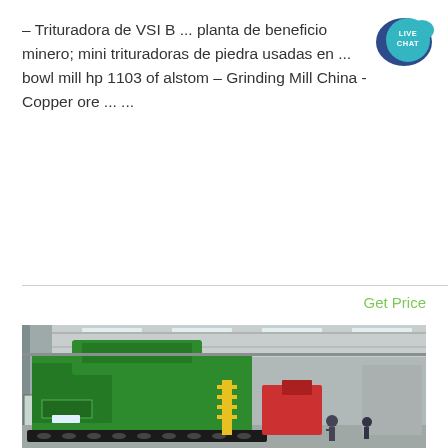– Trituradora de VSI B ... planta de beneficio minero; mini trituradoras de piedra usadas en ... bowl mill hp 1103 of alstom – Grinding Mill China -Copper ore ... ...
[Figure (other): Live Chat button - teal speech bubble icon with text LIVE CHAT]
Get Price
[Figure (photo): Industrial factory floor showing a large green mining/crushing machine on tracks inside a warehouse facility with high ceilings and fluorescent lighting]